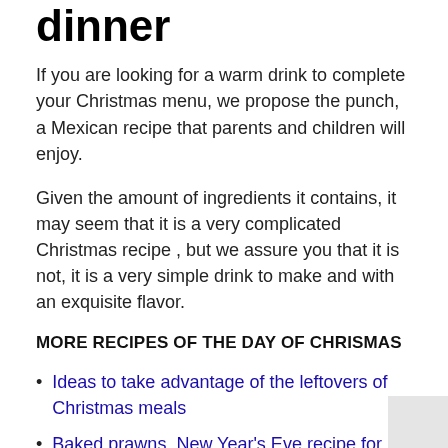dinner
If you are looking for a warm drink to complete your Christmas menu, we propose the punch, a Mexican recipe that parents and children will enjoy.
Given the amount of ingredients it contains, it may seem that it is a very complicated Christmas recipe , but we assure you that it is not, it is a very simple drink to make and with an exquisite flavor.
MORE RECIPES OF THE DAY OF CHRISMAS
Ideas to take advantage of the leftovers of Christmas meals
Baked prawns. New Year's Eve recipe for